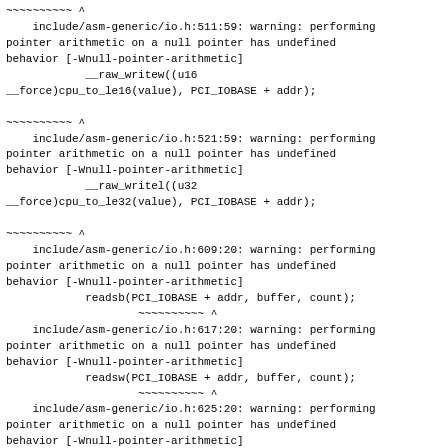~~~~~~~~~~ ^
    include/asm-generic/io.h:511:59: warning: performing pointer arithmetic on a null pointer has undefined behavior [-Wnull-pointer-arithmetic]
            __raw_writew((u16 __force)cpu_to_le16(value), PCI_IOBASE + addr);

~~~~~~~~~~ ^
    include/asm-generic/io.h:521:59: warning: performing pointer arithmetic on a null pointer has undefined behavior [-Wnull-pointer-arithmetic]
            __raw_writel((u32 __force)cpu_to_le32(value), PCI_IOBASE + addr);

~~~~~~~~~~ ^
    include/asm-generic/io.h:609:20: warning: performing pointer arithmetic on a null pointer has undefined behavior [-Wnull-pointer-arithmetic]
            readsb(PCI_IOBASE + addr, buffer, count);
                    ~~~~~~~~~~ ^
    include/asm-generic/io.h:617:20: warning: performing pointer arithmetic on a null pointer has undefined behavior [-Wnull-pointer-arithmetic]
            readsw(PCI_IOBASE + addr, buffer, count);
                    ~~~~~~~~~~ ^
    include/asm-generic/io.h:625:20: warning: performing pointer arithmetic on a null pointer has undefined behavior [-Wnull-pointer-arithmetic]
            readsl(PCI_IOBASE + addr, buffer, count);
                    ~~~~~~~~~~ ^